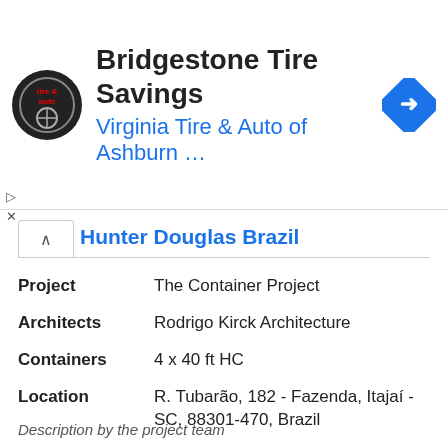[Figure (screenshot): Advertisement banner for Bridgestone Tire Savings at Virginia Tire & Auto of Ashburn, with circular logo and blue arrow navigation icon]
Hunter Douglas Brazil
| Field | Value |
| --- | --- |
| Project | The Container Project |
| Architects | Rodrigo Kirck Architecture |
| Containers | 4 x 40 ft HC |
| Location | R. Tubarão, 182 - Fazenda, Itajaí - SC, 88301-470, Brazil |
| Area | 135 sqm |
| Year | 2016 |
| Photos | Alexandre Zelinski |
| Manufacturers | Hunter Douglas Brazil, Tramontina, Todeschini, Eternit, Portobello, Mosarte |
Description by the project team